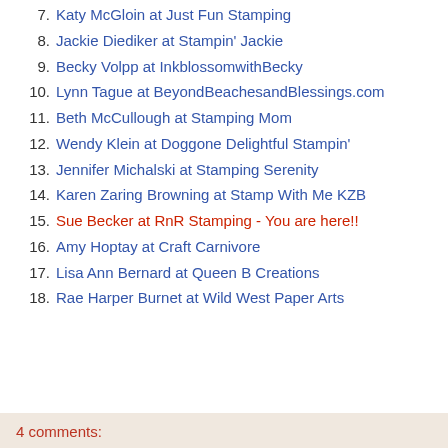7. Katy McGloin at Just Fun Stamping
8. Jackie Diediker at Stampin' Jackie
9. Becky Volpp at InkblossomwithBecky
10. Lynn Tague at BeyondBeachesandBlessings.com
11. Beth McCullough at Stamping Mom
12. Wendy Klein at Doggone Delightful Stampin'
13. Jennifer Michalski at Stamping Serenity
14. Karen Zaring Browning at Stamp With Me KZB
15. Sue Becker at RnR Stamping - You are here!!
16. Amy Hoptay at Craft Carnivore
17. Lisa Ann Bernard at Queen B Creations
18. Rae Harper Burnet at Wild West Paper Arts
4 comments: